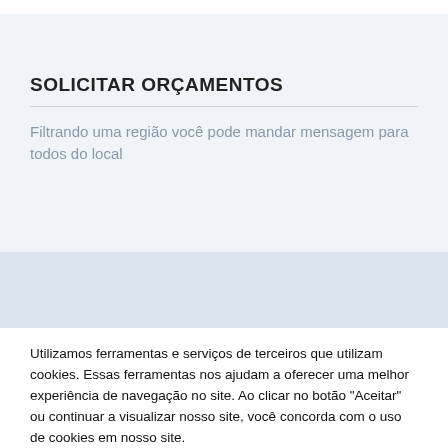SOLICITAR ORÇAMENTOS
Filtrando uma região você pode mandar mensagem para todos do local
Utilizamos ferramentas e serviços de terceiros que utilizam cookies. Essas ferramentas nos ajudam a oferecer uma melhor experiência de navegação no site. Ao clicar no botão "Aceitar" ou continuar a visualizar nosso site, você concorda com o uso de cookies em nosso site.
Cookie Settings
Aceitar